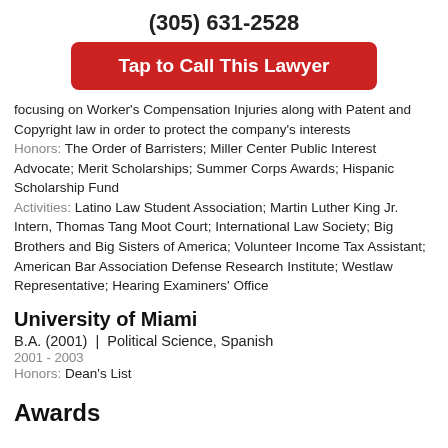(305) 631-2528
Tap to Call This Lawyer
focusing on Worker's Compensation Injuries along with Patent and Copyright law in order to protect the company's interests
Honors: The Order of Barristers; Miller Center Public Interest Advocate; Merit Scholarships; Summer Corps Awards; Hispanic Scholarship Fund
Activities: Latino Law Student Association; Martin Luther King Jr. Intern, Thomas Tang Moot Court; International Law Society; Big Brothers and Big Sisters of America; Volunteer Income Tax Assistant; American Bar Association Defense Research Institute; Westlaw Representative; Hearing Examiners' Office
University of Miami
B.A. (2001)  |  Political Science, Spanish
2001 - 2003
Honors: Dean's List
Awards